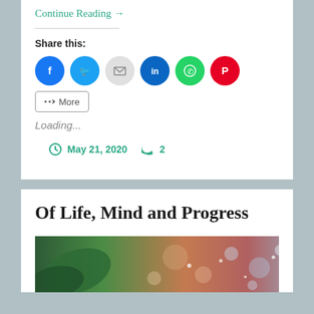Continue Reading →
Share this:
[Figure (infographic): Social share buttons: Facebook, Twitter, Email, LinkedIn, WhatsApp, Pinterest, More]
Loading...
May 21, 2020   2
Of Life, Mind and Progress
[Figure (photo): Article thumbnail photo with green leaves and colorful bokeh background]